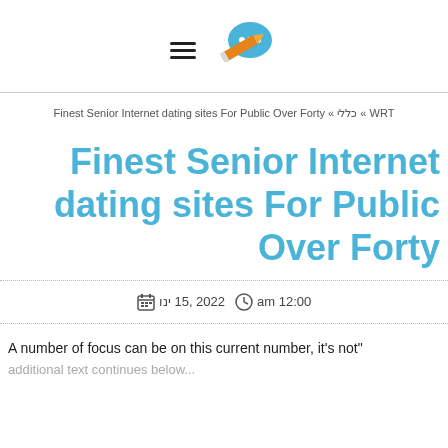[Figure (logo): Hamburger menu icon (three horizontal lines) and a speech bubble with pencil icon (blog/writing logo)]
Finest Senior Internet dating sites For Public Over Forty « כללי « WRT
Finest Senior Internet dating sites For Public Over Forty
am 12:00  2022 ,15 ינו
A number of focus can be on this current number, it's not" and additional text continues below